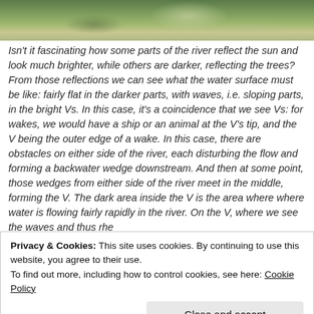[Figure (photo): Partial photograph of a river with green trees and vegetation on the bank, showing light reflections on the water surface.]
Isn't it fascinating how some parts of the river reflect the sun and look much brighter, while others are darker, reflecting the trees? From those reflections we can see what the water surface must be like: fairly flat in the darker parts, with waves, i.e. sloping parts, in the bright Vs. In this case, it's a coincidence that we see Vs: for wakes, we would have a ship or an animal at the V's tip, and the V being the outer edge of a wake. In this case, there are obstacles on either side of the river, each disturbing the flow and forming a backwater wedge downstream. And then at some point, those wedges from either side of the river meet in the middle, forming the V. The dark area inside the V is the area where where water is flowing fairly rapidly in the river. On the V, where we see the waves and thus rhe
Privacy & Cookies: This site uses cookies. By continuing to use this website, you agree to their use.
To find out more, including how to control cookies, see here: Cookie Policy
[Figure (photo): Partial photograph at bottom showing blue water/sky.]